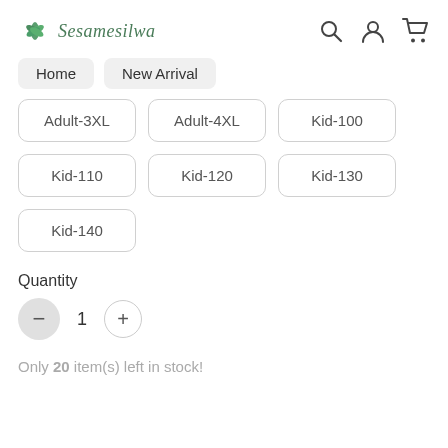Sesamesilwa
Home
New Arrival
Adult-3XL
Adult-4XL
Kid-100
Kid-110
Kid-120
Kid-130
Kid-140
Quantity
1
Only 20 item(s) left in stock!